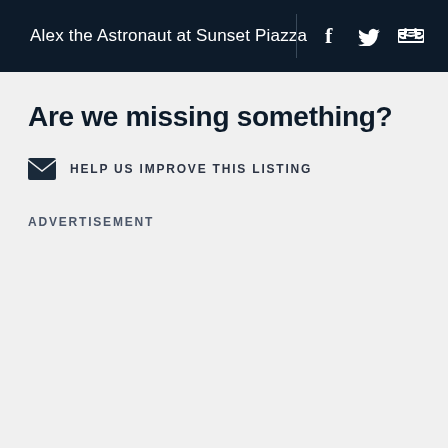Alex the Astronaut at Sunset Piazza
Are we missing something?
HELP US IMPROVE THIS LISTING
ADVERTISEMENT